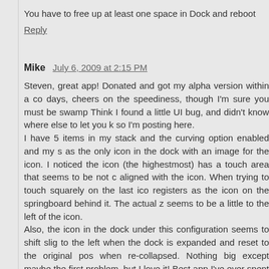You have to free up at least one space in Dock and reboot
Reply
Mike  July 6, 2009 at 2:15 PM
Steven, great app! Donated and got my alpha version within a co days, cheers on the speediness, though I'm sure you must be swamp Think I found a little UI bug, and didn't know where else to let you k so I'm posting here.
I have 5 items in my stack and the curving option enabled and my s as the only icon in the dock with an image for the icon. I noticed the icon (the highestmost) has a touch area that seems to be not c aligned with the icon. When trying to touch squarely on the last ico registers as the icon on the springboard behind it. The actual z seems to be a little to the left of the icon.
Also, the icon in the dock under this configuration seems to shift slig to the left when the dock is expanded and reset to the original pos when re-collapsed. Nothing big except maybe the first problem, but I love it! Best app I've ever spent money on, bar none!
Keep up the good work! Really looking forward to multiple stacks! maybe icon re-ordering?
Thanks again!
Everyone, let's keep Steven motivated and show appreciation for w